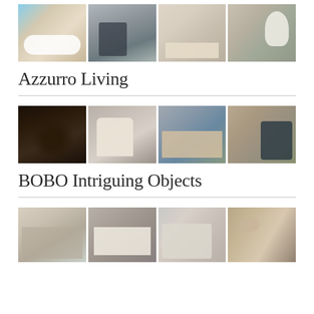[Figure (photo): Four-panel image grid showing Azzurro Living outdoor furniture: a white lounge chair by the sea, a black armchair in a modern space, white chaise lounges on a terrace, and a hanging wicker egg chair by a stone wall.]
Azzurro Living
[Figure (photo): Four-panel image grid showing BOBO Intriguing Objects: a dark chandelier close-up, a cream armchair with side table, wooden dining chairs and table, and dark decorative vases on a wood surface.]
BOBO Intriguing Objects
[Figure (photo): Four-panel image grid showing a third brand: living room with curtains, a room with abstract wall art and white sofa, overhead view of sectional sofa, and a bright rustic living room with wooden beams.]